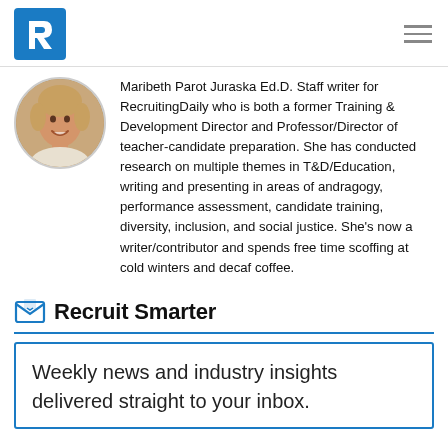RecruitingDaily
[Figure (photo): Circular portrait photo of Maribeth Parot Juraska, a woman with short blonde hair, smiling.]
Maribeth Parot Juraska Ed.D. Staff writer for RecruitingDaily who is both a former Training & Development Director and Professor/Director of teacher-candidate preparation. She has conducted research on multiple themes in T&D/Education, writing and presenting in areas of andragogy, performance assessment, candidate training, diversity, inclusion, and social justice. She's now a writer/contributor and spends free time scoffing at cold winters and decaf coffee.
Recruit Smarter
Weekly news and industry insights delivered straight to your inbox.